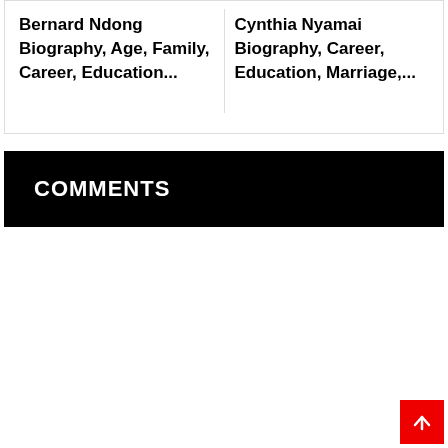Bernard Ndong Biography, Age, Family, Career, Education...
Cynthia Nyamai Biography, Career, Education, Marriage,...
COMMENTS